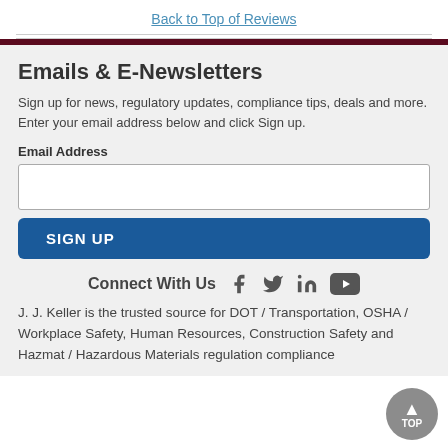Back to Top of Reviews
Emails & E-Newsletters
Sign up for news, regulatory updates, compliance tips, deals and more. Enter your email address below and click Sign up.
Email Address
SIGN UP
Connect With Us
J. J. Keller is the trusted source for DOT / Transportation, OSHA / Workplace Safety, Human Resources, Construction Safety and Hazmat / Hazardous Materials regulation compliance